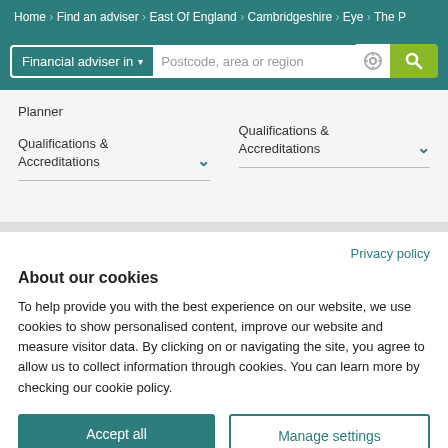Home > Find an adviser > East Of England > Cambridgeshire > Eye > The P
[Figure (screenshot): Search bar with 'Financial adviser in' dropdown, postcode/area/region text input, geolocation icon, and green search button]
Planner
Qualifications & Accreditations
Qualifications & Accreditations
Privacy policy
About our cookies
To help provide you with the best experience on our website, we use cookies to show personalised content, improve our website and measure visitor data. By clicking on or navigating the site, you agree to allow us to collect information through cookies. You can learn more by checking our cookie policy.
Accept all
Manage settings